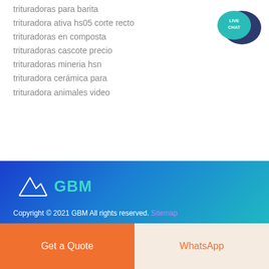trituradoras para barita
trituradora ativa hs05 corte recto
trituradoras en composta
trituradoras cascote precio
trituradoras mineria hsn
trituradora cerámica para
trituradora animales video
[Figure (logo): Live Chat speech bubble icon with dark navy and teal colors, text LIVE CHAT]
[Figure (logo): GBM company logo with mountain/origami shape in white outline and GBM text in teal]
Copyright © 2021 GBM All rights reserved. Sitemap
[Figure (infographic): Social media icons: Facebook, Twitter, Dribbble, Behance in white outlined squares]
Get a Quote
WhatsApp